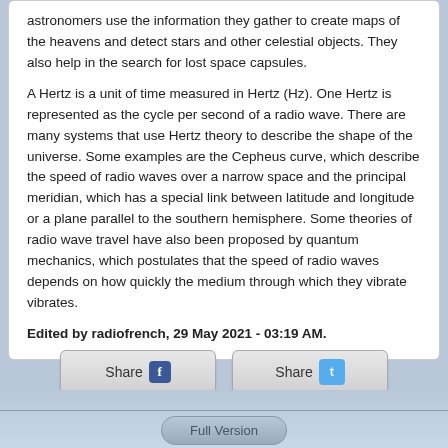astronomers use the information they gather to create maps of the heavens and detect stars and other celestial objects. They also help in the search for lost space capsules.
A Hertz is a unit of time measured in Hertz (Hz). One Hertz is represented as the cycle per second of a radio wave. There are many systems that use Hertz theory to describe the shape of the universe. Some examples are the Cepheus curve, which describe the speed of radio waves over a narrow space and the principal meridian, which has a special link between latitude and longitude or a plane parallel to the southern hemisphere. Some theories of radio wave travel have also been proposed by quantum mechanics, which postulates that the speed of radio waves depends on how quickly the medium through which they vibrate vibrates.
Edited by radiofrench, 29 May 2021 - 03:19 AM.